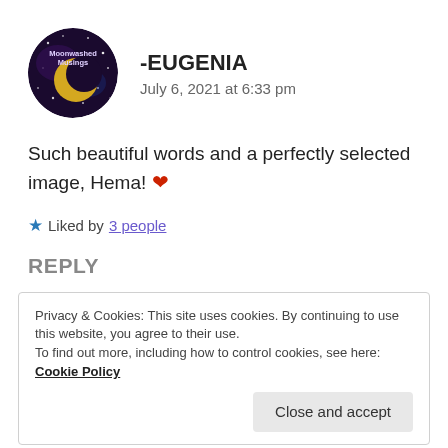[Figure (logo): Circular avatar image with dark background showing a crescent moon and text 'Moonwashed Musings']
-EUGENIA
July 6, 2021 at 6:33 pm
Such beautiful words and a perfectly selected image, Hema! ❤
★ Liked by 3 people
REPLY
Privacy & Cookies: This site uses cookies. By continuing to use this website, you agree to their use. To find out more, including how to control cookies, see here: Cookie Policy
Close and accept